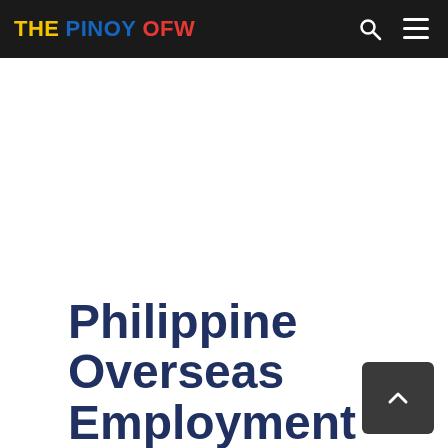THE PINOY OFW
Philippine Overseas Employment